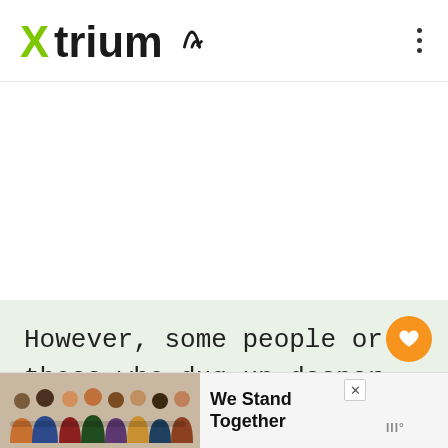Xtrium
[Figure (screenshot): Large white blank content area in app]
However, some people or those who dug up deeper information said that
[Figure (infographic): Advertisement banner: group of people with text 'We Stand Together']